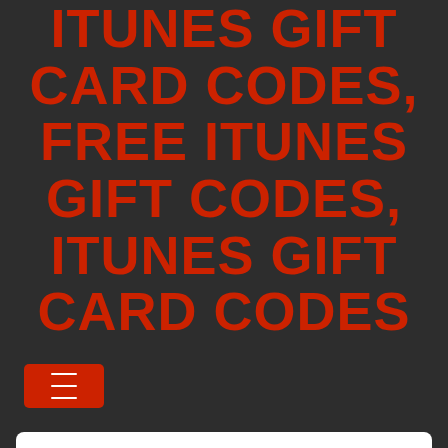ITUNES GIFT CARD CODES, FREE ITUNES GIFT CODES, ITUNES GIFT CARD CODES
[Figure (other): Red hamburger menu button with three white horizontal lines]
MONTHLY ARCHIVES: MARCH 2018
JERRY JONES GETS SOMETHING FEWERS RECEIVE: A CHANCE